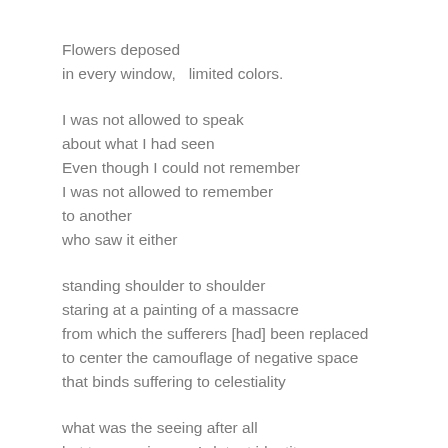Flowers deposed
in every window,   limited colors.
I was not allowed to speak
about what I had seen
Even though I could not remember
I was not allowed to remember
to another
who saw it either
standing shoulder to shoulder
staring at a painting of a massacre
from which the sufferers [had] been replaced
to center the camouflage of negative space
that binds suffering to celestiality
what was the seeing after all
but transposing one’s latent identity